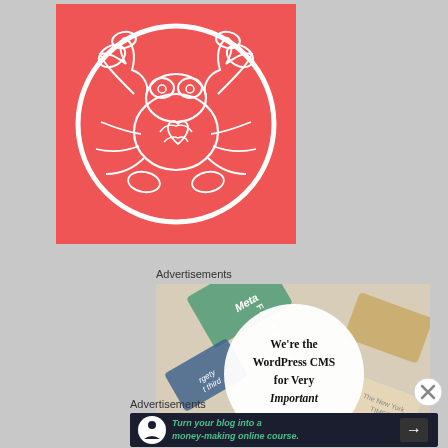[Figure (illustration): Cancer zodiac sign illustration: white line drawing of a crab inside a circle, on a coral/red-orange square background]
Advertisements
[Figure (screenshot): Advertisement banner: colorful credit/debit card collage background with a white circle overlay containing bold text: 'We're the WordPress CMS for Very Important'. Includes card labels: Meta, FACEBOOK visible.]
Advertisements
[Figure (screenshot): Dark advertisement banner with white circular icon (person/figure), green italic text: 'Turn your blog into a money-making online course.' and a right-arrow button]